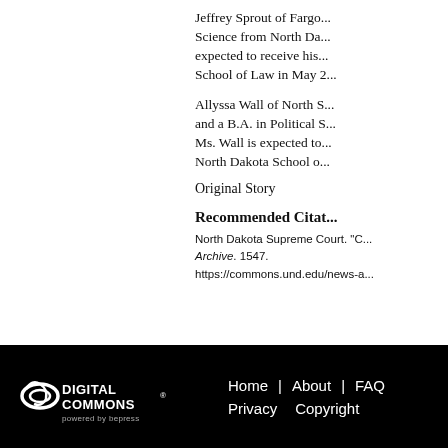Jeffrey Sprout of Fargo... Science from North Da... expected to receive his... School of Law in May 2...
Allyssa Wall of North S... and a B.A. in Political S... Ms. Wall is expected to... North Dakota School o...
Original Story
Recommended Citat...
North Dakota Supreme Court. "C... Archive. 1547.
https://commons.und.edu/news-a...
[Figure (logo): Digital Commons powered by bepress logo in white on black background]
Home | About | FAQ   Privacy   Copyright